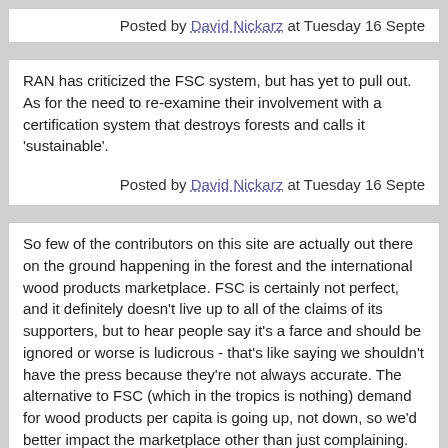Posted by David Nickarz at Tuesday 16 Septe
RAN has criticized the FSC system, but has yet to pull out. As for the need to re-examine their involvement with a certification system that destroys forests and calls it 'sustainable'.
Posted by David Nickarz at Tuesday 16 Septe
So few of the contributors on this site are actually out there on the ground happening in the forest and the international wood products marketplace. FSC is certainly not perfect, and it definitely doesn't live up to all of the claims of its supporters, but to hear people say it's a farce and should be ignored or worse is ludicrous - that's like saying we shouldn't have the press because they're not always accurate. The alternative to FSC (which in the tropics is nothing) demand for wood products per capita is going up, not down, so we'd better impact the marketplace other than just complaining.

In many cases/regions FSC is doing tremendous good, saving forests that would disappear completely. Here are two examples I've recently witnessed in Latin America that help illustrate why the FSC is not just the 'lesser of evils but a positive environmental force:
1) In the Peten region of Guatemala, the government set aside a large